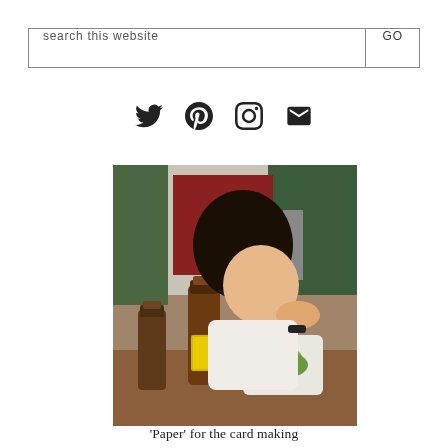search this website
[Figure (photo): A young woman eating food at an outdoor picnic table with beer bottles in front of her. Background shows trees and a red/green barn-like structure with another person visible.]
'Paper' for the card making